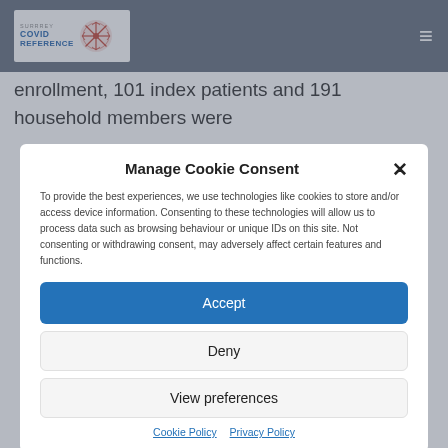COVID REFERENCE [logo with snowflake icon] [hamburger menu]
enrollment, 101 index patients and 191 household members were
Manage Cookie Consent
To provide the best experiences, we use technologies like cookies to store and/or access device information. Consenting to these technologies will allow us to process data such as browsing behaviour or unique IDs on this site. Not consenting or withdrawing consent, may adversely affect certain features and functions.
Accept
Deny
View preferences
Cookie Policy  Privacy Policy